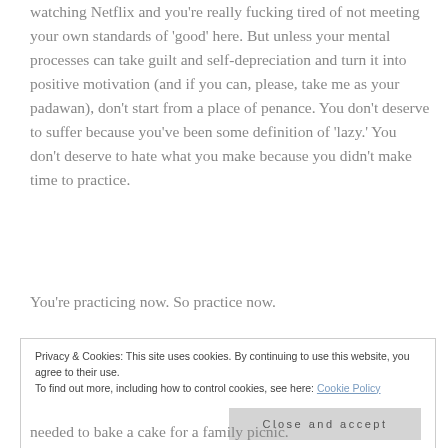watching Netflix and you're really fucking tired of not meeting your own standards of 'good' here. But unless your mental processes can take guilt and self-depreciation and turn it into positive motivation (and if you can, please, take me as your padawan), don't start from a place of penance. You don't deserve to suffer because you've been some definition of 'lazy.' You don't deserve to hate what you make because you didn't make time to practice.
You're practicing now. So practice now.
Privacy & Cookies: This site uses cookies. By continuing to use this website, you agree to their use.
To find out more, including how to control cookies, see here: Cookie Policy
Close and accept
needed to bake a cake for a family picnic.